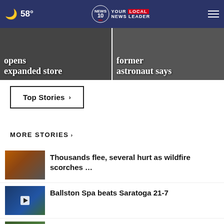58° YOUR LOCAL NEWS LEADER – NEWS 10 ABC
opens expanded store
former astronaut says
Top Stories ›
MORE STORIES ›
Thousands flee, several hurt as wildfire scorches …
Ballston Spa beats Saratoga 21-7
31 Granville horses removed from unsafe conditions